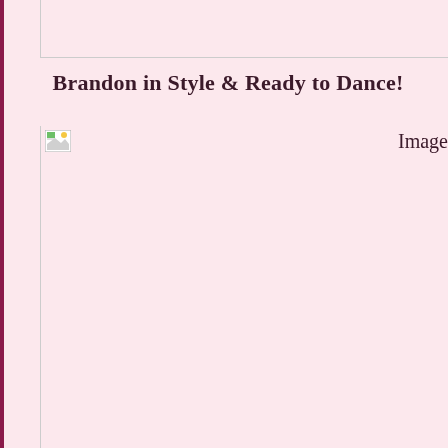Brandon in Style & Ready to Dance!
[Figure (photo): A photo placeholder showing a broken image icon with the label 'Image' — the actual photo of Brandon is not loaded/visible.]